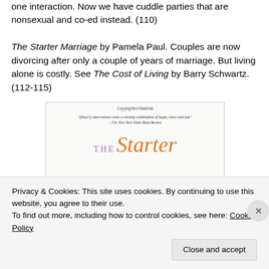one interaction. Now we have cuddle parties that are nonsexual and co-ed instead. (110)
The Starter Marriage by Pamela Paul. Couples are now divorcing after only a couple of years of marriage. But living alone is costly. See The Cost of Living by Barry Schwartz. (112-115)
[Figure (illustration): Book cover image showing 'The Starter' title text, with 'THE' in purple serif letters and 'Starter' in large orange italic serif font. Includes 'Copyrighted Material' header and a quote from The New York Times Book Review.]
Privacy & Cookies: This site uses cookies. By continuing to use this website, you agree to their use.
To find out more, including how to control cookies, see here: Cookie Policy